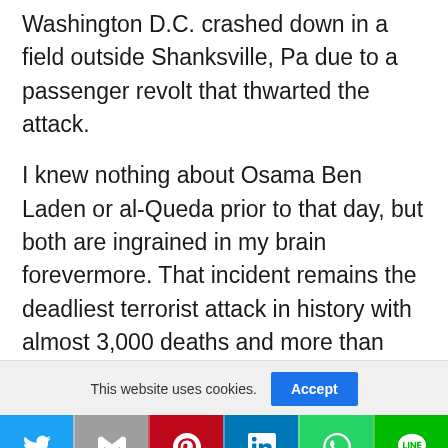Washington D.C. crashed down in a field outside Shanksville, Pa due to a passenger revolt that thwarted the attack.
I knew nothing about Osama Ben Laden or al-Queda prior to that day, but both are ingrained in my brain forevermore. That incident remains the deadliest terrorist attack in history with almost 3,000 deaths and more than 25,000 injuries. It's hard to believe this event took place more than 20 years ago as it
This website uses cookies. [Accept button]
[Figure (other): Social share bar with Twitter, Gmail, Pinterest, LinkedIn, WhatsApp, and LINE icons]